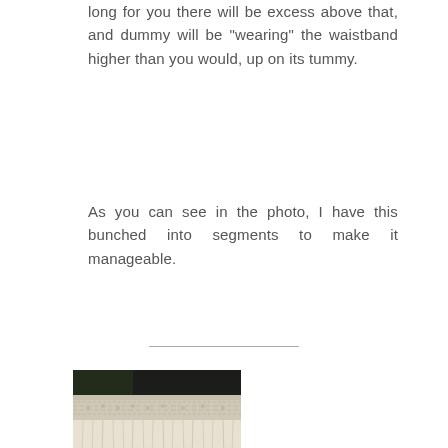long for you there will be excess above that, and dummy will be "wearing" the waistband higher than you would, up on its tummy.
As you can see in the photo, I have this bunched into segments to make it manageable.
[Figure (photo): A photo showing a gathered/bunched fabric waistband with tulle or mesh fabric beneath it, being held or worked on by a person's hand.]